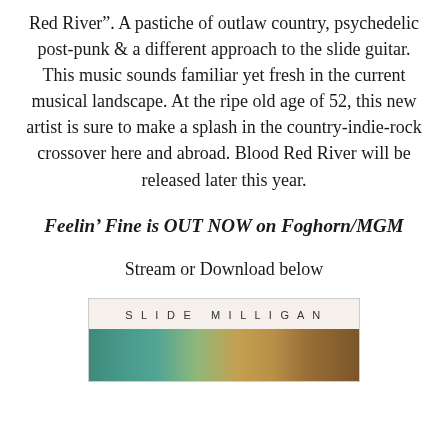Red River".  A pastiche of outlaw country, psychedelic post-punk & a different approach to the slide guitar.  This music sounds familiar yet fresh in the current musical landscape. At the ripe old age of 52, this new artist is sure to make a splash in the country-indie-rock crossover here and abroad.  Blood Red River will be released later this year.
Feelin' Fine is OUT NOW on Foghorn/MGM
Stream or Download below
[Figure (illustration): Album art card for Slide Milligan with the text 'SLIDE MILLIGAN' in spaced capitals and a partial image strip showing a colorful illustration below]